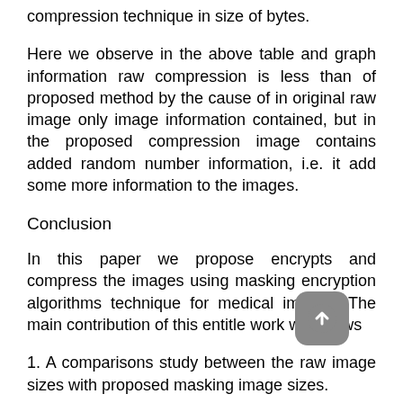compression technique in size of bytes.
Here we observe in the above table and graph information raw compression is less than of proposed method by the cause of in original raw image only image information contained, but in the proposed compression image contains added random number information, i.e. it add some more information to the images.
Conclusion
In this paper we propose encrypts and compress the images using masking encryption algorithms technique for medical images. The main contribution of this entitle work will shows
1. A comparisons study between the raw image sizes with proposed masking image sizes.
2. This is also gives the comparisons information regarding the RAW images' Huffman and RLE compression's and